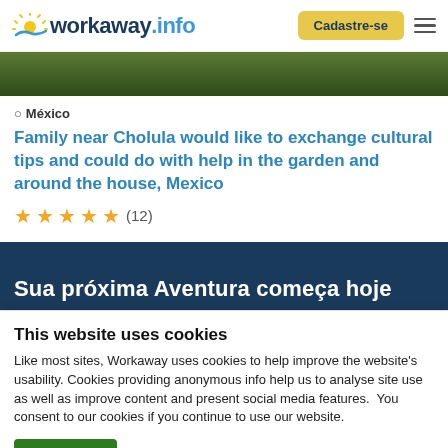workaway.info | Cadastre-se
[Figure (photo): Hero image showing green garden/nature background]
México
Family near Cholula would like to exchange cultural tips and could do with help in the garden and around the house, Mexico
★★★★★ (12)
Sua próxima Aventura começa hoje
This website uses cookies
Like most sites, Workaway uses cookies to help improve the website's usability. Cookies providing anonymous info help us to analyse site use as well as improve content and present social media features.  You consent to our cookies if you continue to use our website.
OK | Settings